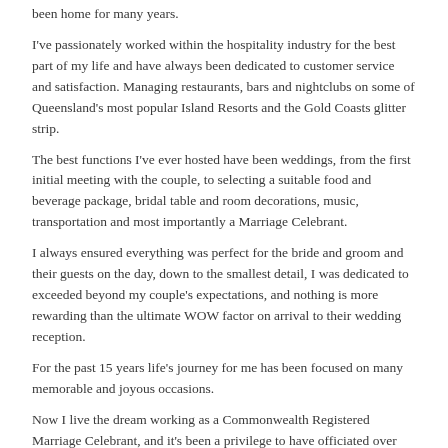been home for many years.
I've passionately worked within the hospitality industry for the best part of my life and have always been dedicated to customer service and satisfaction. Managing restaurants, bars and nightclubs on some of Queensland's most popular Island Resorts and the Gold Coasts glitter strip.
The best functions I've ever hosted have been weddings, from the first initial meeting with the couple, to selecting a suitable food and beverage package, bridal table and room decorations, music, transportation and most importantly a Marriage Celebrant.
I always ensured everything was perfect for the bride and groom and their guests on the day, down to the smallest detail, I was dedicated to exceeded beyond my couple's expectations, and nothing is more rewarding than the ultimate WOW factor on arrival to their wedding reception.
For the past 15 years life's journey for me has been focused on many memorable and joyous occasions.
Now I live the dream working as a Commonwealth Registered Marriage Celebrant, and it's been a privilege to have officiated over 1000 wedding ceremonies, named hundreds of babies, helped couples re live their wedding day as they renewal their vows, and I've had the pleasure of hosting many wedding receptions as a Master of Ceremonies.